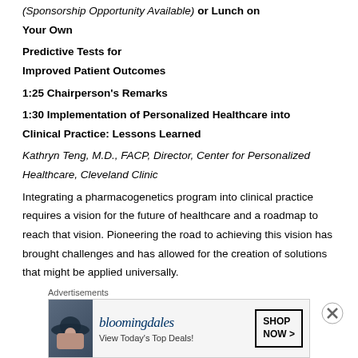(Sponsorship Opportunity Available) or Lunch on Your Own
Predictive Tests for Improved Patient Outcomes
1:25 Chairperson's Remarks
1:30 Implementation of Personalized Healthcare into Clinical Practice: Lessons Learned
Kathryn Teng, M.D., FACP, Director, Center for Personalized Healthcare, Cleveland Clinic
Integrating a pharmacogenetics program into clinical practice requires a vision for the future of healthcare and a roadmap to reach that vision. Pioneering the road to achieving this vision has brought challenges and has allowed for the creation of solutions that might be applied universally.
[Figure (infographic): Bloomingdales advertisement banner: 'View Today's Top Deals!' with SHOP NOW button and woman in hat photo]